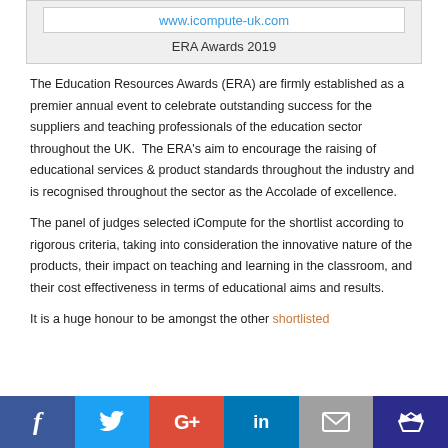[Figure (other): Top banner with icompute-uk.com website URL and ERA Awards 2019 label]
The Education Resources Awards (ERA) are firmly established as a premier annual event to celebrate outstanding success for the suppliers and teaching professionals of the education sector throughout the UK. The ERA's aim to encourage the raising of educational services & product standards throughout the industry and is recognised throughout the sector as the Accolade of excellence.
The panel of judges selected iCompute for the shortlist according to rigorous criteria, taking into consideration the innovative nature of the products, their impact on teaching and learning in the classroom, and their cost effectiveness in terms of educational aims and results.
It is a huge honour to be amongst the other shortlisted
[Figure (other): Social media sharing bar with Facebook, Twitter, Google+, LinkedIn, Email, and crown/bookmark icons]